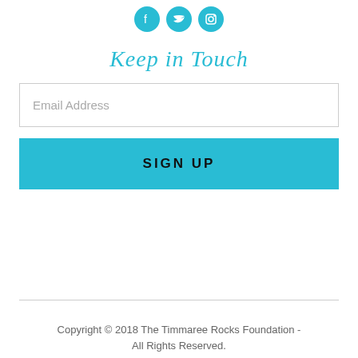[Figure (illustration): Three circular teal social media icons for Facebook, Twitter, and Instagram arranged horizontally]
Keep in Touch
Email Address
SIGN UP
Copyright © 2018 The Timmaree Rocks Foundation - All Rights Reserved.